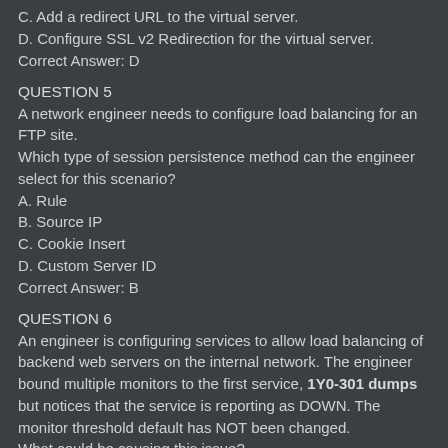C. Add a redirect URL to the virtual server.
D. Configure SSL v2 Redirection for the virtual server.
Correct Answer: D
QUESTION 5
A network engineer needs to configure load balancing for an FTP site.
Which type of session persistence method can the engineer select for this scenario?
A. Rule
B. Source IP
C. Cookie Insert
D. Custom Server ID
Correct Answer: B
QUESTION 6
An engineer is configuring services to allow load balancing of backend web servers on the internal network. The engineer bound multiple monitors to the first service, 1Y0-301 dumps but notices that the service is reporting as DOWN. The monitor threshold default has NOT been changed.
What could be causing this issue?
A. The service type is HTTP.